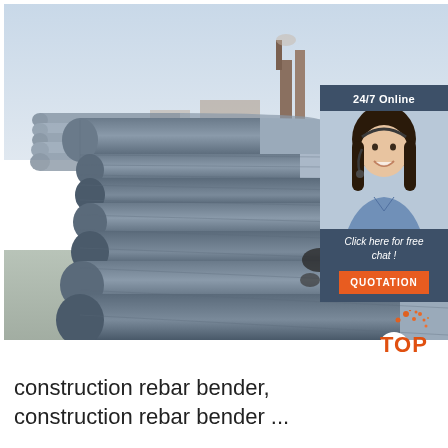[Figure (photo): Large photo of bundled steel rebar/reinforcing bars stacked in rows at a construction yard or warehouse, taken from a low angle showing the length and texture of the bars. Industrial background with structures visible.]
[Figure (infographic): Chat widget panel overlaid on the top-right of the rebar photo. Dark blue-gray background. Text at top reads '24/7 Online'. Shows a photo of a smiling woman wearing a headset (customer service representative). Below the photo text reads 'Click here for free chat !' and an orange button labeled 'QUOTATION'.]
[Figure (logo): TOP logo in the bottom-right area: orange dots arranged like a triangle/spray above the word 'TOP' in bold orange capital letters with a white oval behind the T.]
construction rebar bender, construction rebar bender ...